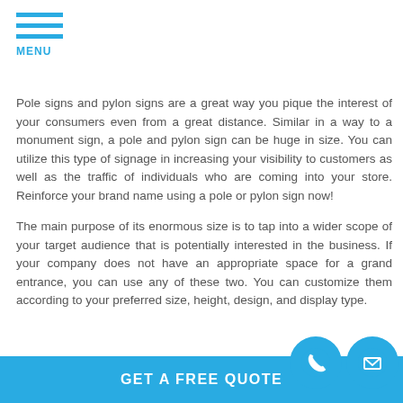[Figure (other): Hamburger menu icon with three horizontal blue lines and MENU label below]
Pole signs and pylon signs are a great way you pique the interest of your consumers even from a great distance. Similar in a way to a monument sign, a pole and pylon sign can be huge in size. You can utilize this type of signage in increasing your visibility to customers as well as the traffic of individuals who are coming into your store. Reinforce your brand name using a pole or pylon sign now!
The main purpose of its enormous size is to tap into a wider scope of your target audience that is potentially interested in the business. If your company does not have an appropriate space for a grand entrance, you can use any of these two. You can customize them according to your preferred size, height, design, and display type.
[Figure (other): GET A FREE QUOTE button in blue with phone icon circle and mail icon circle]